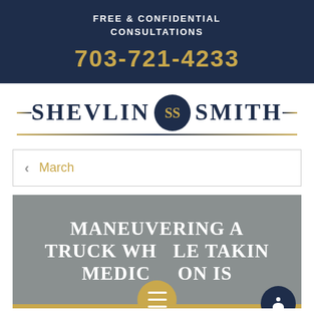FREE & CONFIDENTIAL CONSULTATIONS
703-721-4233
[Figure (logo): Shevlin Smith law firm logo with dark navy oval emblem containing SS monogram, flanked by firm name in serif uppercase letters with gold horizontal rules]
< March
[Figure (photo): Dark grey/slate background article image with white uppercase text reading: MANEUVERING A TRUCK WHILE TAKING MEDICATION IS, with a gold circular menu button and dark navy accessibility icon button overlay]